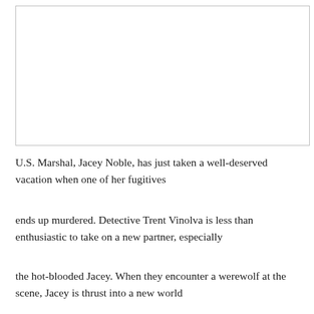[Figure (other): White rectangular image placeholder with a thin border]
U.S. Marshal, Jacey Noble, has just taken a well-deserved vacation when one of her fugitives
ends up murdered. Detective Trent Vinolva is less than enthusiastic to take on a new partner, especially
the hot-blooded Jacey. When they encounter a werewolf at the scene, Jacey is thrust into a new world